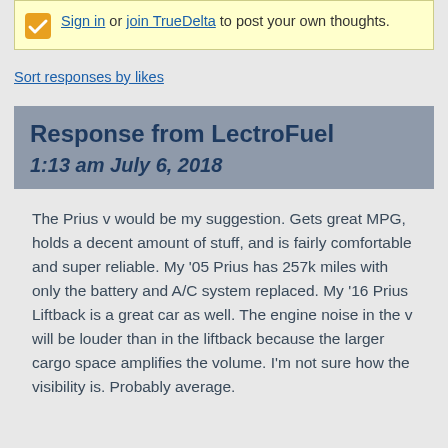Sign in or join TrueDelta to post your own thoughts.
Sort responses by likes
Response from LectroFuel
1:13 am July 6, 2018
The Prius v would be my suggestion. Gets great MPG, holds a decent amount of stuff, and is fairly comfortable and super reliable. My '05 Prius has 257k miles with only the battery and A/C system replaced. My '16 Prius Liftback is a great car as well. The engine noise in the v will be louder than in the liftback because the larger cargo space amplifies the volume. I'm not sure how the visibility is. Probably average.